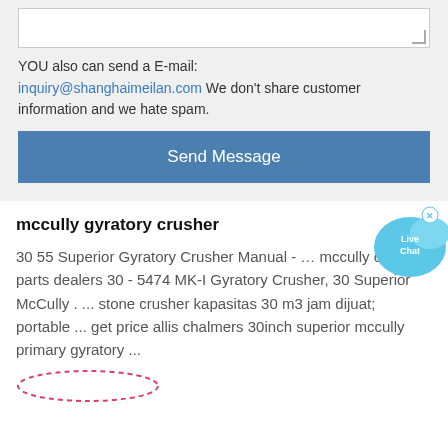YOU also can send a E-mail: inquiry@shanghaimeilan.com We don't share customer information and we hate spam.
Send Message
[Figure (other): Live Chat bubble icon with blue speech bubbles and close X button]
mccully gyratory crusher
30 55 Superior Gyratory Crusher Manual - … mccully crusher parts dealers 30 - 5474 MK-I Gyratory Crusher, 30 Superior McCully . ... stone crusher kapasitas 30 m3 jam dijuat; portable ... get price allis chalmers 30inch superior mccully primary gyratory ...